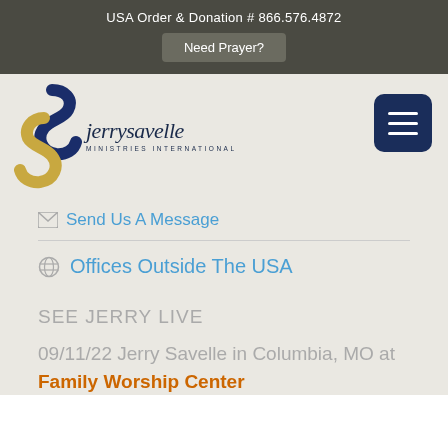USA Order & Donation # 866.576.4872
Need Prayer?
[Figure (logo): Jerry Savelle Ministries International logo with stylized S ribbon and text]
Send Us A Message
Offices Outside The USA
SEE JERRY LIVE
09/11/22 Jerry Savelle in Columbia, MO at Family Worship Center